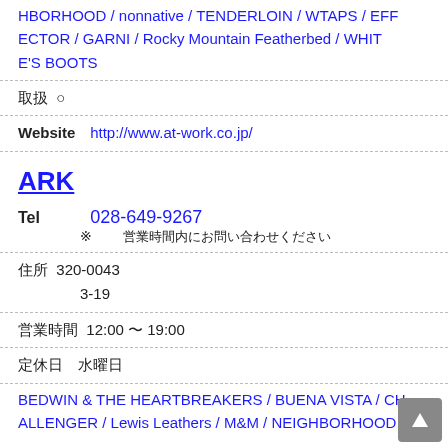HBORHOOD / nonnative / TENDERLOIN / WTAPS / EFFECTOR / GARNI / Rocky Mountain Featherbed / WHITE'S BOOTS
取扱 ○
Website http://www.at-work.co.jp/
ARK
Tel 028-649-9267
※ 営業時間内にお問い合わせください
住所 320-0043 栃木県宇都宮市中央3-19
営業時間 12:00 〜 19:00
定休日 水曜日
BEDWIN & THE HEARTBREAKERS / BUENA VISTA / CHALLENGER / Lewis Leathers / M&M / NEIGHBORHOOD